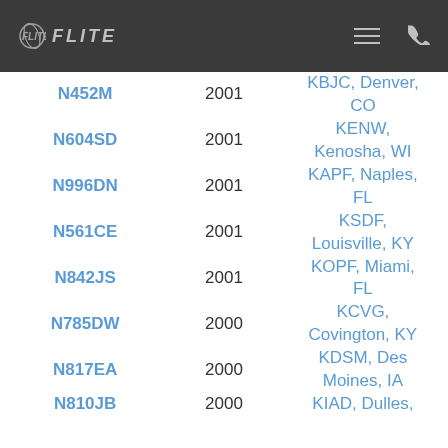FLITE
| Tail | Year | Location |
| --- | --- | --- |
| N452M | 2001 | KBJC, Denver, CO |
| N604SD | 2001 | KENW, Kenosha, WI |
| N996DN | 2001 | KAPF, Naples, FL |
| N561CE | 2001 | KSDF, Louisville, KY |
| N842JS | 2001 | KOPF, Miami, FL |
| N785DW | 2000 | KCVG, Covington, KY |
| N817EA | 2000 | KDSM, Des Moines, IA |
| N810JB | 2000 | KIAD, Dulles, |